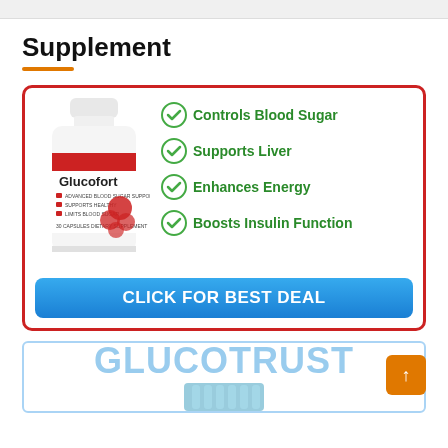Supplement
[Figure (infographic): Glucofort supplement advertisement box with red border. Shows a white supplement bottle labeled 'Glucofort' on the left, and four green checkmark bullet points on the right: Controls Blood Sugar, Supports Liver, Enhances Energy, Boosts Insulin Function. Below is a blue button that says CLICK FOR BEST DEAL.]
[Figure (infographic): GlucoTrust advertisement banner showing the text GLUCOTRUST in large light blue letters with a supplement bottle cap visible below.]